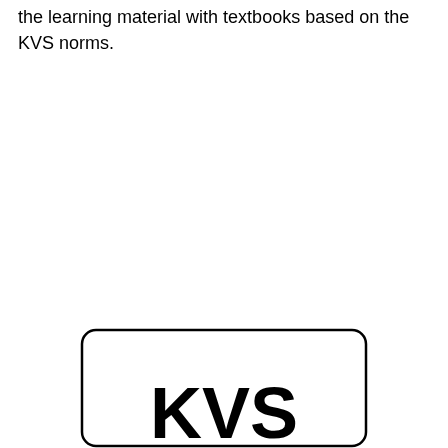the learning material with textbooks based on the KVS norms.
[Figure (logo): KVS logo in a rounded rectangle box, showing the text 'KVS' in bold large font, partially visible at bottom of page]